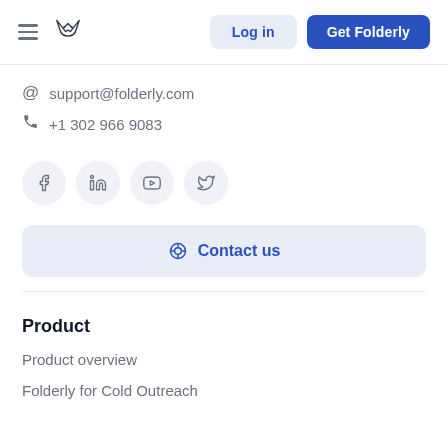Log in | Get Folderly
support@folderly.com
+1 302 966 9083
[Figure (other): Social media icons: Facebook, LinkedIn, YouTube, Twitter in circular buttons]
Contact us
Product
Product overview
Folderly for Cold Outreach